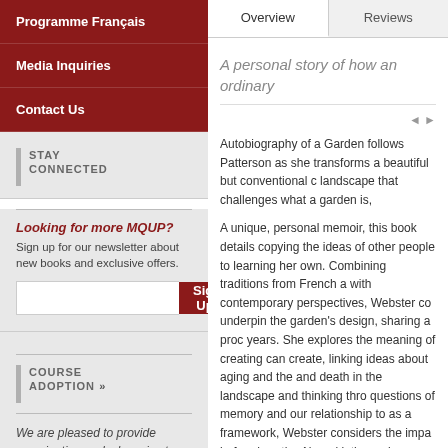Programme Français
Media Inquiries
Contact Us
STAY CONNECTED
Looking for more MQUP? Sign up for our newsletter about new books and exclusive offers.
COURSE ADOPTION »
We are pleased to provide examination or desk copies to professors. Click for more information ›
Overview
Reviews
A personal story of how an ordinary
Autobiography of a Garden follows Patterson as she transforms a beautiful but conventional c landscape that challenges what a garden is,

A unique, personal memoir, this book details copying the ideas of other people to learning her own. Combining traditions from French a with contemporary perspectives, Webster co underpin the garden's design, sharing a proc years. She explores the meaning of creating can create, linking ideas about aging and the and death in the landscape and thinking thro questions of memory and our relationship to as a framework, Webster considers the impa before her: the Abenaki, the early settlers, th southerners who came to Quebec to avoid th defeated them in the Civil War. With engagin thinking behind each part of the garden and